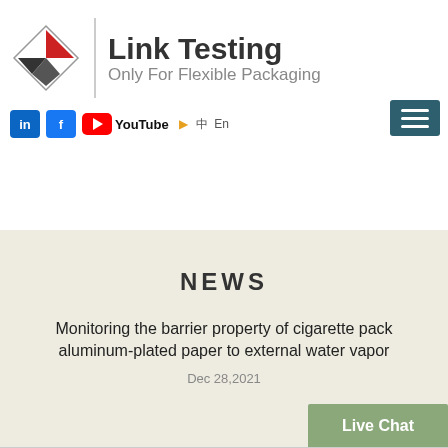[Figure (logo): Link Testing company logo: diamond shape with red and black triangles, vertical divider, text 'Link Testing' and 'Only For Flexible Packaging']
[Figure (infographic): Social media icons bar: LinkedIn, Facebook, YouTube icons followed by language options with orange arrow and 'En' text]
[Figure (other): Hamburger menu button (three horizontal lines) on dark teal background]
NEWS
Monitoring the barrier property of cigarette pack aluminum-plated paper to external water vapor
Dec 28,2021